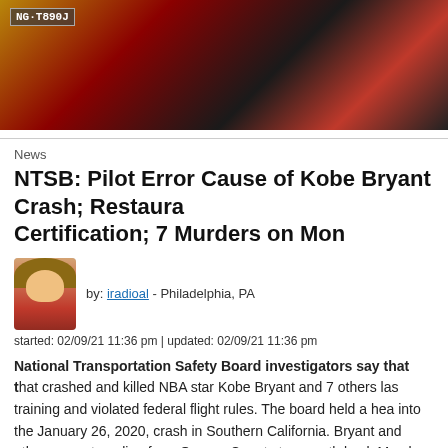[Figure (photo): Nighttime photo of vehicles, showing a license plate reading NG-T890J, with orange and red lighting in background]
News
NTSB: Pilot Error Cause of Kobe Bryant Crash; Restaura Certification; 7 Murders on Mon
[Figure (photo): Author avatar photo of person with long hair]
by: iradioal - Philadelphia, PA
started: 02/09/21 11:36 pm | updated: 02/09/21 11:36 pm
National Transportation Safety Board investigators say that the pilot that crashed and killed NBA star Kobe Bryant and 7 others last training and violated federal flight rules. The board held a hearing into the January 26, 2020, crash in Southern California. Bryant and others were traveling from Orange County to a youth basketball Mamba Sports Academy in Ventura County that morning. The.
[Figure (photo): Bottom news images: left shows foggy/smoky scene, right shows sports image with number 5]